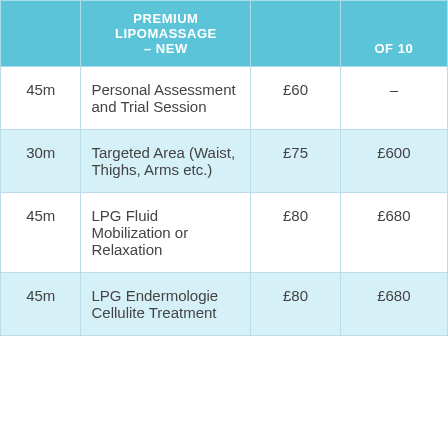|  | PREMIUM LIPOMASSAGE – NEW |  | OF 10 |
| --- | --- | --- | --- |
| 45m | Personal Assessment and Trial Session | £60 | – |
| 30m | Targeted Area (Waist, Thighs, Arms etc.) | £75 | £600 |
| 45m | LPG Fluid Mobilization or Relaxation | £80 | £680 |
| 45m | LPG Endermologie Cellulite Treatment | £80 | £680 |